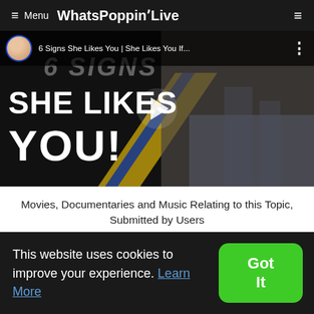≡ Menu WhatsPoppinʼLive
[Figure (screenshot): YouTube video thumbnail showing '6 Signs She Likes You | She Likes You If...' with play button overlay, text reading 'SHE LIKES YOU!' in bold white on dark background, and a woman in black attire on the right side]
Movies, Documentaries and Music Relating to this Topic, Submitted by Users
Submit Videos Relating to this Topic
This website uses cookies to improve your experience. Learn More
Got It